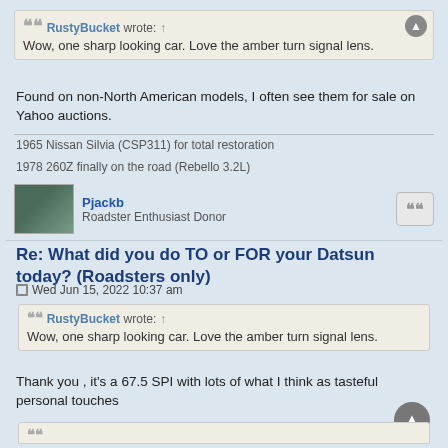RustyBucket wrote: ↑
Wow, one sharp looking car. Love the amber turn signal lens.
Found on non-North American models, I often see them for sale on Yahoo auctions.
1965 Nissan Silvia (CSP311) for total restoration
1978 260Z finally on the road (Rebello 3.2L)
Pjackb
Roadster Enthusiast Donor
Re: What did you do TO or FOR your Datsun today? (Roadsters only)
Wed Jun 15, 2022 10:37 am
RustyBucket wrote: ↑
Wow, one sharp looking car. Love the amber turn signal lens.
Thank you , it's a 67.5 SPI with lots of what I think as tasteful personal touches